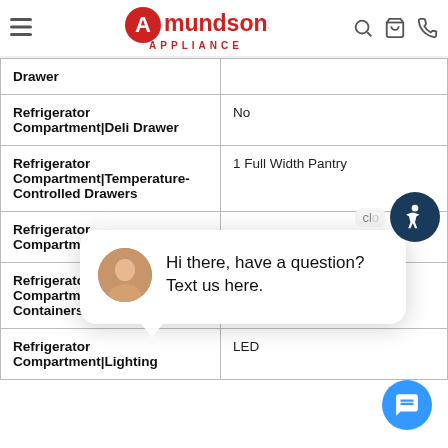Amundson's Appliance
| Feature | Value |
| --- | --- |
| Drawer |  |
| Refrigerator Compartment|Deli Drawer | No |
| Refrigerator Compartment|Temperature-Controlled Drawers | 1 Full Width Pantry |
| Refrigerator Compartment|Door Bins |  |
| Refrigerator Compartment|Supplementary Containers |  |
| Refrigerator Compartment|Lighting | LED |